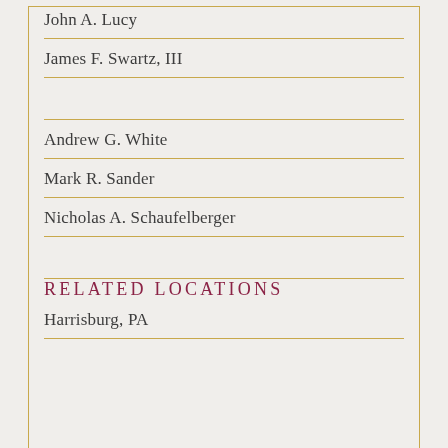John A. Lucy
James F. Swartz, III
Andrew G. White
Mark R. Sander
Nicholas A. Schaufelberger
RELATED LOCATIONS
Harrisburg, PA